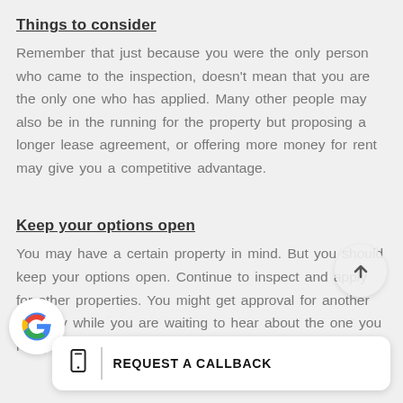Things to consider
Remember that just because you were the only person who came to the inspection, doesn't mean that you are the only one who has applied. Many other people may also be in the running for the property but proposing a longer lease agreement, or offering more money for rent may give you a competitive advantage.
Keep your options open
You may have a certain property in mind. But you should keep your options open. Continue to inspect and apply for other properties. You might get approval for another property while you are waiting to hear about the one you really want. This doesn't mean you are